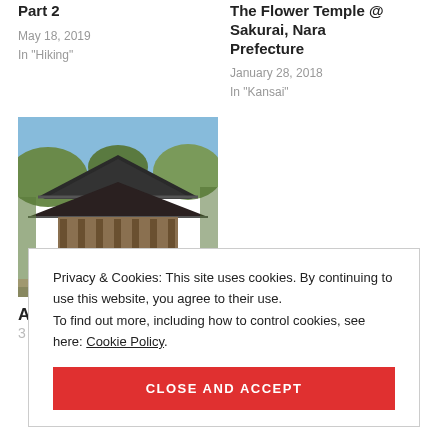Part 2
May 18, 2019
In "Hiking"
The Flower Temple @ Sakurai, Nara Prefecture
January 28, 2018
In "Kansai"
[Figure (photo): Photo of a Japanese temple building with traditional curved roof, wooden structure, surrounded by trees and visitors]
Abe-Monjuin, one of the 3 temples worshipping...
Privacy & Cookies: This site uses cookies. By continuing to use this website, you agree to their use.
To find out more, including how to control cookies, see here: Cookie Policy
CLOSE AND ACCEPT